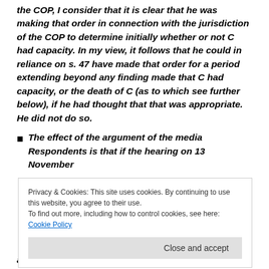the COP, I consider that it is clear that he was making that order in connection with the jurisdiction of the COP to determine initially whether or not C had capacity. In my view, it follows that he could in reliance on s. 47 have made that order for a period extending beyond any finding made that C had capacity, or the death of C (as to which see further below), if he had thought that that was appropriate. He did not do so.
The effect of the argument of the media Respondents is that if the hearing on 13 November
Privacy & Cookies: This site uses cookies. By continuing to use this website, you agree to their use. To find out more, including how to control cookies, see here: Cookie Policy
announced his decision that C had capacity as a